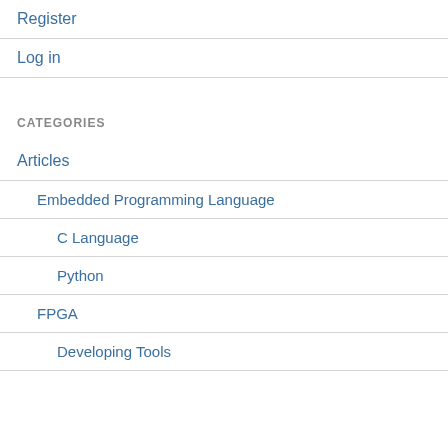Register
Log in
CATEGORIES
Articles
Embedded Programming Language
C Language
Python
FPGA
Developing Tools